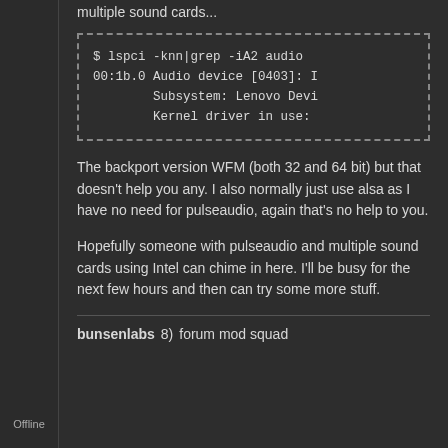multiple sound cards...
$ lspci -knn|grep -iA2 audio
00:1b.0 Audio device [0403]: I
        Subsystem: Lenovo Devi
        Kernel driver in use:
The backport version WFM (both 32 and 64 bit) but that doesn't help you any. I also normally just use alsa as I have no need for pulseaudio, again that's no help to you.
Hopefully someone with pulseaudio and multiple sound cards using Intel can chime in here. I'll be busy for the next few hours and then can try some more stuff.
bunsenlabs  8)  forum mod squad
Offline